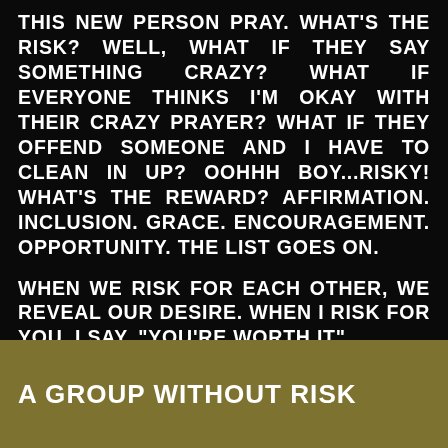THIS NEW PERSON PRAY. WHAT'S THE RISK? WELL, WHAT IF THEY SAY SOMETHING CRAZY? WHAT IF EVERYONE THINKS I'M OKAY WITH THEIR CRAZY PRAYER? WHAT IF THEY OFFEND SOMEONE AND I HAVE TO CLEAN IN UP? OOHHH BOY...RISKY! WHAT'S THE REWARD? AFFIRMATION. INCLUSION. GRACE. ENCOURAGEMENT. OPPORTUNITY. THE LIST GOES ON.
WHEN WE RISK FOR EACH OTHER, WE REVEAL OUR DESIRE. WHEN I RISK FOR YOU, I SAY, "YOU'RE WORTH IT".
A GROUP WITHOUT RISK